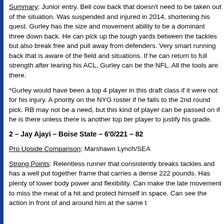Summary: Junior entry. Bell cow back that doesn't need to be taken out of the situation. Was suspended and injured in 2014, shortening his quest. Gurley has the size and movement ability to be a dominant three down back. He can pick up the tough yards between the tackles but also break free and pull away from defenders. Very smart running back that is aware of the field and situations. If he can return to full strength after tearing his ACL, Gurley can be the NFL. All the tools are there.
*Gurley would have been a top 4 player in this draft class if it were not for his injury. A priority on the NYG roster if he falls to the 2nd round pick. RB may not be a need, but this kind of player can be passed on if he is there unless there is another top tier player to justify his grade.
2 – Jay Ajayi – Boise State – 6'0/221 – 82
Pro Upside Comparison: Marshawn Lynch/SEA
Strong Points: Relentless runner that consistently breaks tackles and has a well put together frame that carries a dense 222 pounds. Has plenty of lower body power and flexibility. Can make the late movement to miss the meat of a hit and protect himself in space. Can see the action in front of and around him at the same time.